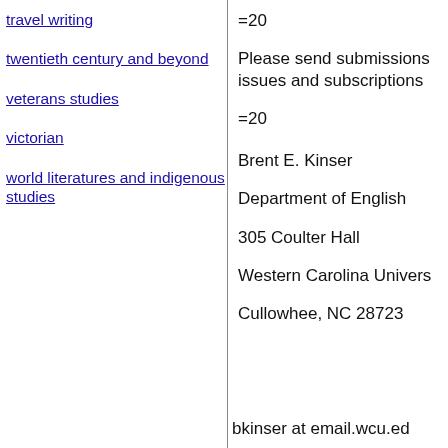travel writing
twentieth century and beyond
veterans studies
victorian
world literatures and indigenous studies
=20
Please send submissions issues and subscriptions
=20
Brent E. Kinser
Department of English
305 Coulter Hall
Western Carolina Univers
Cullowhee, NC 28723
bkinser at email.wcu.ed